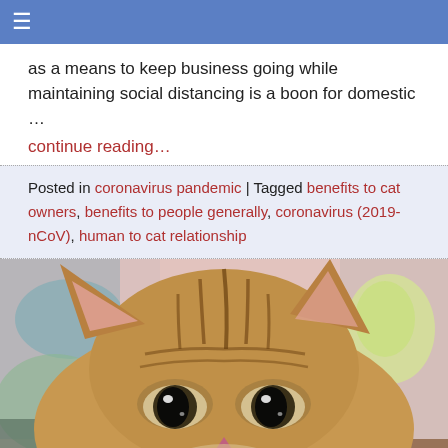≡ (navigation bar)
as a means to keep business going while maintaining social distancing is a boon for domestic …
continue reading…
Posted in coronavirus pandemic | Tagged benefits to cat owners, benefits to people generally, coronavirus (2019-nCoV), human to cat relationship
[Figure (photo): Close-up photo of a tabby kitten with large eyes, striped markings on its head, looking slightly upward toward the camera. Background shows blurred pastel colors (pink, green, yellow).]